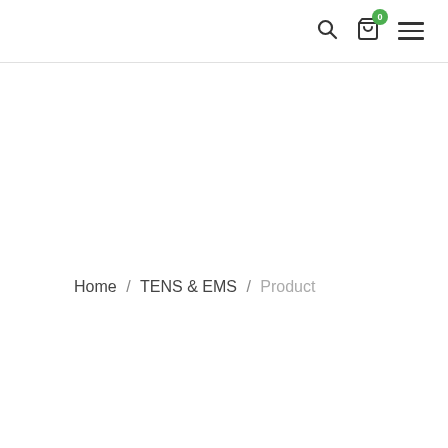Navigation header with search icon, cart icon with badge 0, and hamburger menu
Home / TENS & EMS / Product